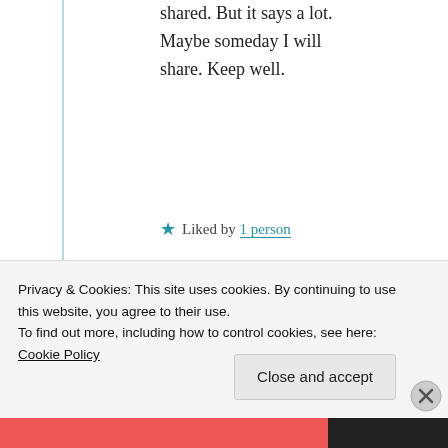shared. But it says a lot. Maybe someday I will share. Keep well.
★ Liked by 1 person
Suma Reddy
27th Jun 2021 at 1:03 pm
Privacy & Cookies: This site uses cookies. By continuing to use this website, you agree to their use.
To find out more, including how to control cookies, see here: Cookie Policy
Close and accept